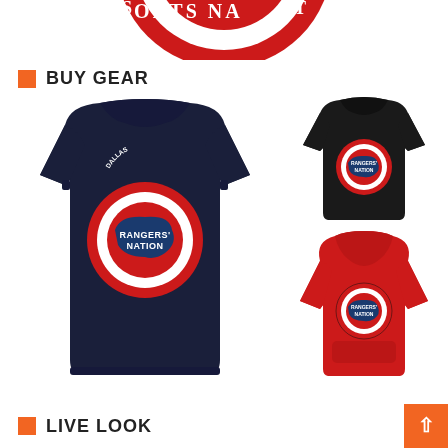[Figure (logo): Partial circular logo with red border and white/red/blue design, text 'SPORTS NATION' around the edge, cropped at top of page]
BUY GEAR
[Figure (photo): Navy blue long-sleeve shirt with circular Dallas Rangers Nation Sports Nation logo on chest]
[Figure (photo): Black short-sleeve t-shirt with circular Rangers Nation logo on chest]
[Figure (photo): Red hoodie sweatshirt with circular Rangers Nation logo on chest]
LIVE LOOK